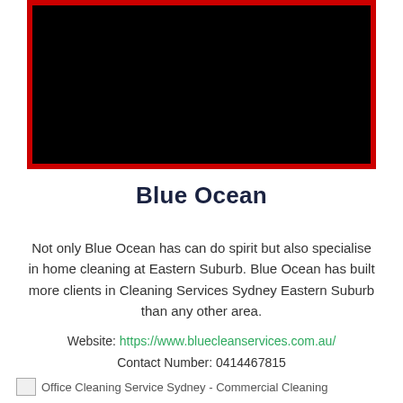[Figure (other): Video thumbnail with red border and black interior, representing a video player embed for Blue Ocean cleaning services]
Blue Ocean
Not only Blue Ocean has can do spirit but also specialise in home cleaning at Eastern Suburb. Blue Ocean has built more clients in Cleaning Services Sydney Eastern Suburb than any other area.
Website: https://www.bluecleanservices.com.au/
Contact Number: 0414467815
Office Cleaning Service Sydney - Commercial Cleaning